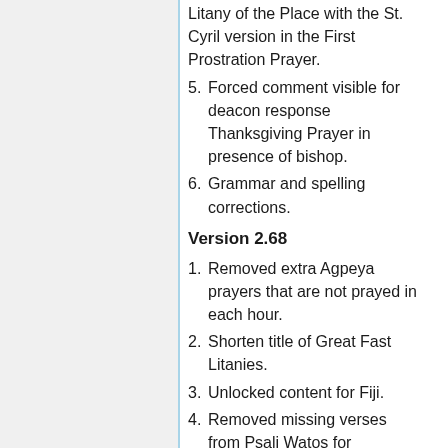Litany of the Place with the St. Cyril version in the First Prostration Prayer.
5. Forced comment visible for deacon response Thanksgiving Prayer in presence of bishop.
6. Grammar and spelling corrections.
Version 2.68
1. Removed extra Agpeya prayers that are not prayed in each hour.
2. Shorten title of Great Fast Litanies.
3. Unlocked content for Fiji.
4. Removed missing verses from Psali Watos for Presentation of the Lord into the Temple.
5. Fixed Arabic issues in Psali Watos for Presentation of the